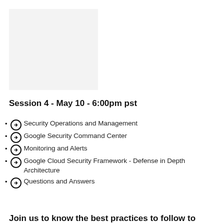[Figure (other): Light gray placeholder image rectangle in the upper left area of the page]
Session 4 - May 10 - 6:00pm pst
Security Operations and Management
Google Security Command Center
Monitoring and Alerts
Google Cloud Security Framework - Defense in Depth Architecture
Questions and Answers
Join us to know the best practices to follow to